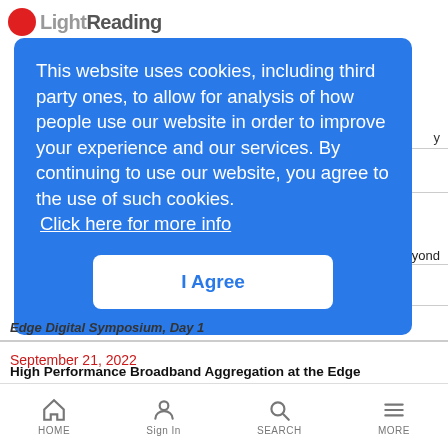[Figure (logo): Light Reading logo with red circle icon and grey text]
This website uses cookies, including third party ones, to allow for analysis of how people use our website in order to improve your experience and our services. By continuing to use our website, you agree to the use of such cookies.
Click here for more info
I Agree
Edge Digital Symposium, Day 1
September 21, 2022
High Performance Broadband Aggregation at the Edge
WEBINAR ARCHIVE
PARTNER PERSPECTIVES   content from our sponsors
HOME   Sign In   SEARCH   MORE